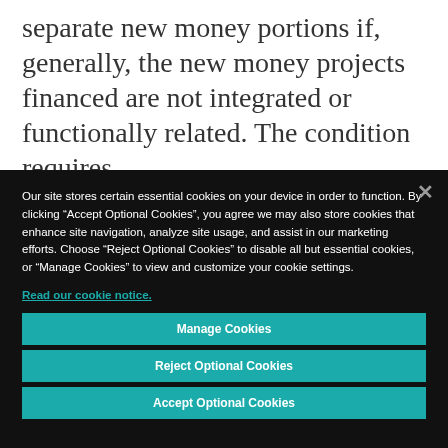separate new money portions if, generally, the new money projects financed are not integrated or functionally related. The condition requires...
Our site stores certain essential cookies on your device in order to function. By clicking “Accept Optional Cookies”, you agree we may also store cookies that enhance site navigation, analyze site usage, and assist in our marketing efforts. Choose “Reject Optional Cookies” to disable all but essential cookies, or “Manage Cookies” to view and customize your cookie settings.
Read our cookie notice.
Manage Cookies
Reject Optional Cookies
Accept Optional Cookies